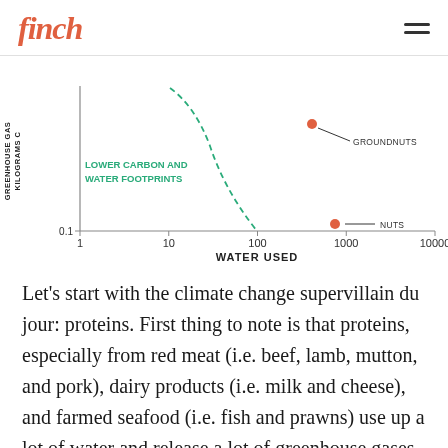finch
[Figure (continuous-plot): Log-log scatter plot showing greenhouse gas emissions (kg CO2 per 1000 calories, y-axis) vs water used (liters/1000 calories, x-axis). A dashed green curve marks the boundary for 'Lower Carbon and Water Footprints' in the lower-left region. Two data points are shown: 'Groundnuts' at approximately (450, 0.15) and 'Nuts' at approximately (550, 0.1). Both axes are logarithmic. X-axis label: WATER USED LITERS/1000 CALORIES. Y-axis label: GREENHOUSE GAS KILOGRAMS C.]
Let’s start with the climate change supervillain du jour: proteins. First thing to note is that proteins, especially from red meat (i.e. beef, lamb, mutton, and pork), dairy products (i.e. milk and cheese), and farmed seafood (i.e. fish and prawns) use up a lot of water and release a lot of greenhouse gases per 1000 calories you eat. This is in large part due